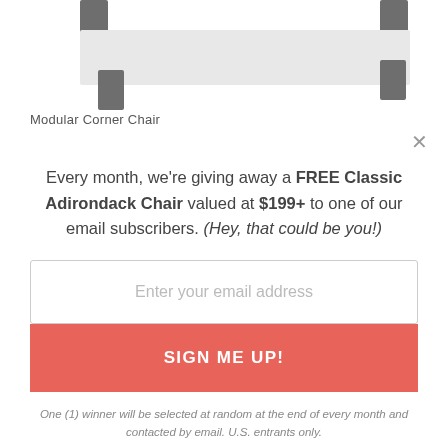[Figure (illustration): Partial top view of a modular corner chair with dark gray metal legs on a white background]
Modular Corner Chair
Every month, we're giving away a FREE Classic Adirondack Chair valued at $199+ to one of our email subscribers. (Hey, that could be you!)
Enter your email address
SIGN ME UP!
One (1) winner will be selected at random at the end of every month and contacted by email. U.S. entrants only.